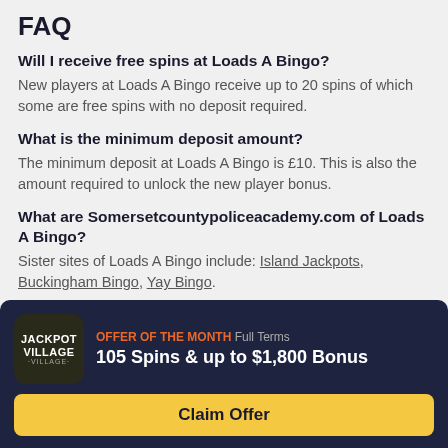FAQ
Will I receive free spins at Loads A Bingo?
New players at Loads A Bingo receive up to 20 spins of which some are free spins with no deposit required.
What is the minimum deposit amount?
The minimum deposit at Loads A Bingo is £10. This is also the amount required to unlock the new player bonus.
What are Somersetcountypoliceacademy.com of Loads A Bingo?
Sister sites of Loads A Bingo include: Island Jackpots, Buckingham Bingo, Yay Bingo.
[Figure (infographic): Offer of the Month banner: Jackpot Village logo, text '105 Spins & up to $1,800 Bonus', and 'Claim Offer' button]